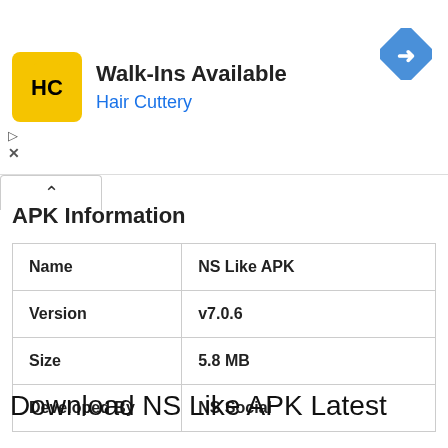[Figure (infographic): Advertisement banner for Hair Cuttery showing logo, 'Walk-Ins Available' headline, and navigation icon]
APK Information
| Name | NS Like APK |
| Version | v7.0.6 |
| Size | 5.8 MB |
| Developed By | NS Social |
Download NS Like APK Latest